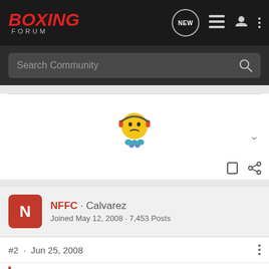BOXING FORUM
Search Community
[Figure (illustration): A cartoon sad face emoji character with headphones and small decorative elements below]
NFFC · Calvarez
Joined May 12, 2008 · 7,453 Posts
#2 · Jun 25, 2008
The Iron Man said: ⊕